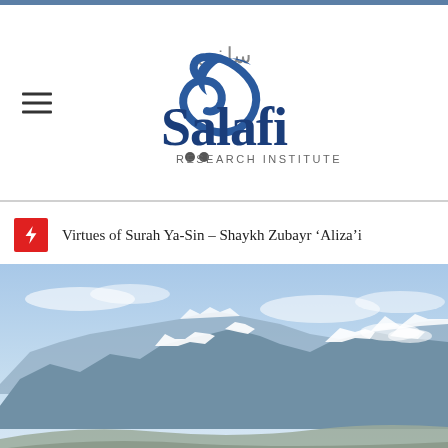[Figure (logo): Salafi Research Institute logo with Arabic script and stylized S letter in blue]
Virtues of Surah Ya-Sin – Shaykh Zubayr ‘Aliza’i
[Figure (photo): Aerial photograph of snow-capped mountain range under blue sky with clouds]